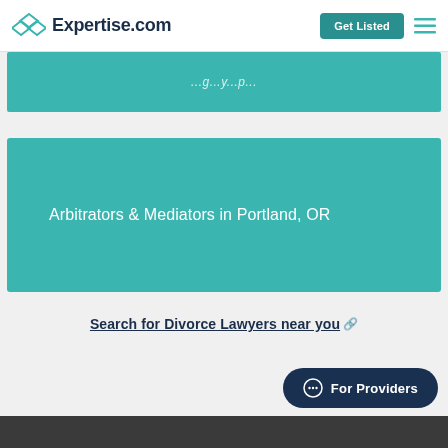Expertise.com  Get Listed
[Figure (other): Teal banner partially visible at top with italic text]
Arbitrators & Mediators in Portland, OR
Search for Divorce Lawyers near you 🔗
For Providers